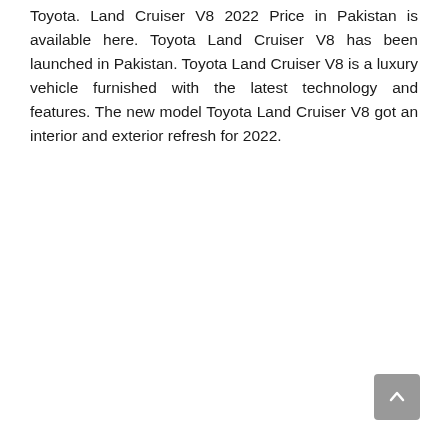Toyota. Land Cruiser V8 2022 Price in Pakistan is available here. Toyota Land Cruiser V8 has been launched in Pakistan. Toyota Land Cruiser V8 is a luxury vehicle furnished with the latest technology and features. The new model Toyota Land Cruiser V8 got an interior and exterior refresh for 2022.